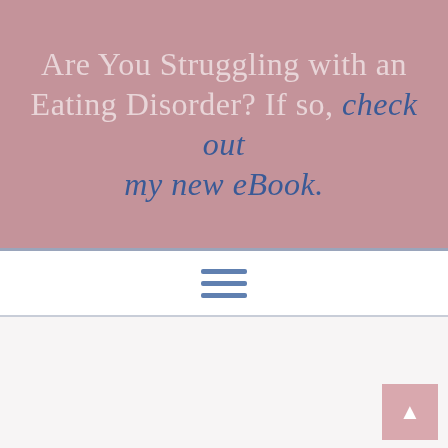Are You Struggling with an Eating Disorder? If so, check out my new eBook.
[Figure (other): Hamburger/menu icon with three horizontal blue lines, centered in a white navigation bar]
[Figure (photo): A fluffy llama or alpaca wearing boots, standing on a beach with sandy ground and hills in the background. A pink vertical 'Sign Up' tab with a thumbs-down icon is on the left side.]